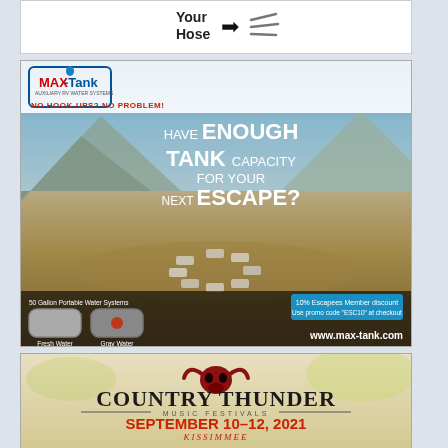[Figure (illustration): Partial advertisement showing 'Your Hose' text with arrow, white background, top of page cropped]
[Figure (photo): MAX-Tank advertisement showing desert landscape with RVs parked in circle, mountain background, blue sky. Logo top-left with 'NO HOOK-UPS? NO PROBLEM!' tagline. Headline: 'HAVE ENOUGH TANK CAPACITY FOR YOUR NEXT ESCAPE?' Bottom shows 50 Gallon Portable Water Systems with Fresh Water and Gray Water tanks. 10% Escapees Member discount, promo code ESC10, www.max-tank.com]
[Figure (illustration): Country Thunder Music Festivals advertisement. Bull skull logo. SEPTEMBER 10-12, 2021 KISSIMMEE. OLD DOMINION, ERIC CHURCH, DIERKS BENTLEY]